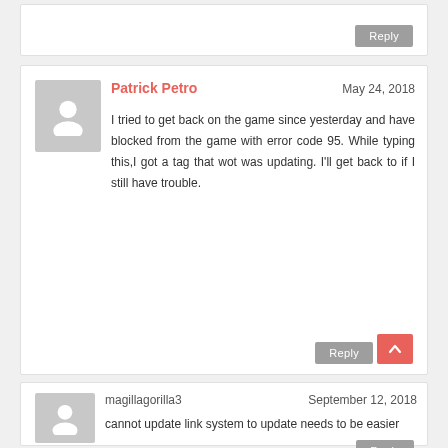Reply
Patrick Petro — May 24, 2018
I tried to get back on the game since yesterday and have blocked from the game with error code 95. While typing this,I got a tag that wot was updating. I'll get back to if I still have trouble.
Reply
magillagorilla3 — September 12, 2018
cannot update link system to update needs to be easier
Reply